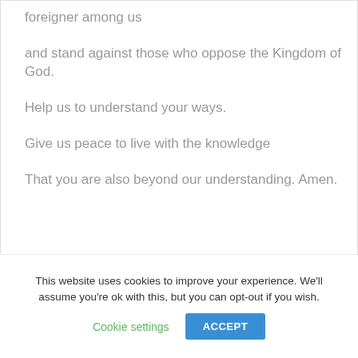foreigner among us
and stand against those who oppose the Kingdom of God.
Help us to understand your ways.
Give us peace to live with the knowledge
That you are also beyond our understanding. Amen.
This website uses cookies to improve your experience. We'll assume you're ok with this, but you can opt-out if you wish.
Cookie settings
ACCEPT